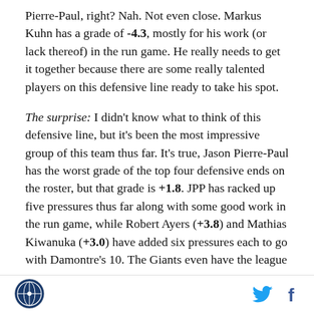Pierre-Paul, right? Nah. Not even close. Markus Kuhn has a grade of -4.3, mostly for his work (or lack thereof) in the run game. He really needs to get it together because there are some really talented players on this defensive line ready to take his spot.
The surprise: I didn't know what to think of this defensive line, but it's been the most impressive group of this team thus far. It's true, Jason Pierre-Paul has the worst grade of the top four defensive ends on the roster, but that grade is +1.8. JPP has racked up five pressures thus far along with some good work in the run game, while Robert Ayers (+3.8) and Mathias Kiwanuka (+3.0) have added six pressures each to go with Damontre's 10. The Giants even have the league
[Figure (logo): Circular logo in footer (sports network logo)]
[Figure (logo): Twitter bird icon and Facebook f icon in footer]